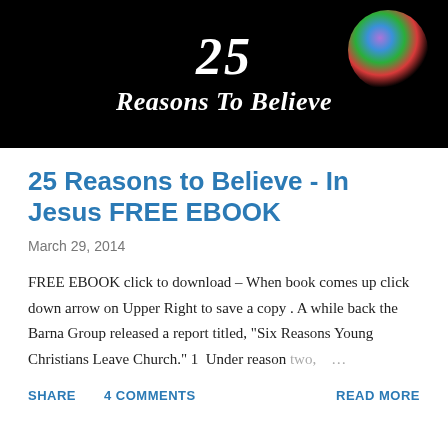[Figure (illustration): Black banner image with '25' in large italic white text and 'Reasons To Believe' in italic bold white text below. A colorful glowing orb in the upper right corner.]
25 Reasons to Believe - In Jesus FREE EBOOK
March 29, 2014
FREE EBOOK click to download – When book comes up click down arrow on Upper Right to save a copy . A while back the Barna Group released a report titled, "Six Reasons Young Christians Leave Church." 1  Under reason two,  …
SHARE   4 COMMENTS   READ MORE